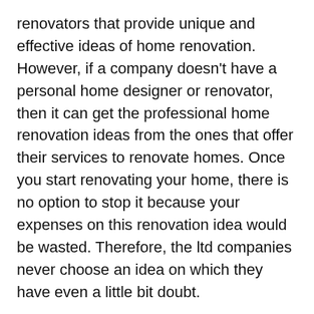renovators that provide unique and effective ideas of home renovation. However, if a company doesn't have a personal home designer or renovator, then it can get the professional home renovation ideas from the ones that offer their services to renovate homes. Once you start renovating your home, there is no option to stop it because your expenses on this renovation idea would be wasted. Therefore, the ltd companies never choose an idea on which they have even a little bit doubt.
Home renovation by individuals:
The individuals like you also get home renovation ideas through the professional renovators and from the internet to make their homes beautiful or to improve it and...